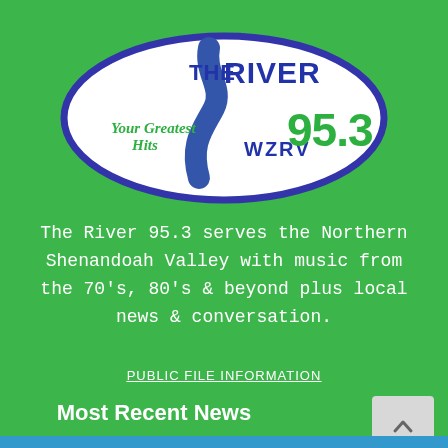[Figure (logo): The River 95.3 WZRV radio station logo — an oval shape with blue border on white background. Text reads 'THE RIVER' in blue at top, '95.3' in green on right, 'Your Greatest Hits' in green italic on lower left, 'WRZV' in blue at bottom center. A blue river shape flows through the center.]
The River 95.3 serves the Northern Shenandoah Valley with music from the 70's, 80's & beyond plus local news & conversation.
PUBLIC FILE INFORMATION
Most Recent News